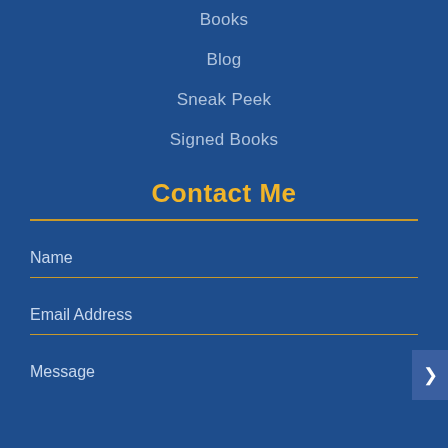Books
Blog
Sneak Peek
Signed Books
Contact Me
Name
Email Address
Message